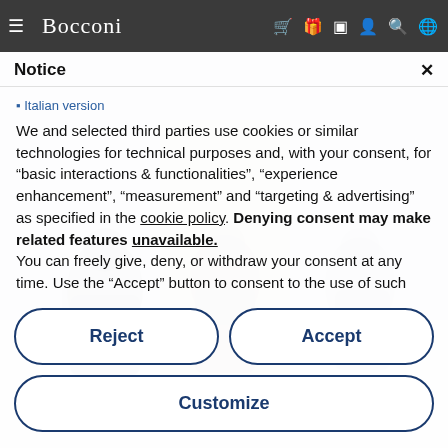[Figure (screenshot): Bocconi university website screenshot showing cookie consent notice modal over a background photo of students in a hallway. Navigation bar at top with hamburger menu, Bocconi logo, and icons for cart, gift, bookmark, profile, search, and globe.]
Bocconi
Notice
We and selected third parties use cookies or similar technologies for technical purposes and, with your consent, for “basic interactions & functionalities”, “experience enhancement”, “measurement” and “targeting & advertising” as specified in the cookie policy. Denying consent may make related features unavailable. You can freely give, deny, or withdraw your consent at any time. Use the “Accept” button to consent to the use of such
Italian version
Reject
Accept
Customize